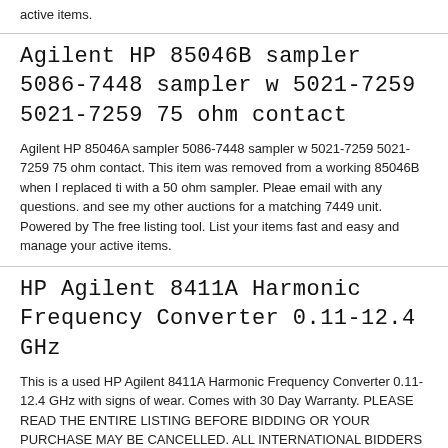active items.
Agilent HP 85046B sampler 5086-7448 sampler w 5021-7259 5021-7259 75 ohm contact
Agilent HP 85046A sampler 5086-7448 sampler w 5021-7259 5021-7259 75 ohm contact. This item was removed from a working 85046B when I replaced ti with a 50 ohm sampler. Pleae email with any questions. and see my other auctions for a matching 7449 unit. Powered by The free listing tool. List your items fast and easy and manage your active items.
HP Agilent 8411A Harmonic Frequency Converter 0.11-12.4 GHz
This is a used HP Agilent 8411A Harmonic Frequency Converter 0.11-12.4 GHz with signs of wear. Comes with 30 Day Warranty. PLEASE READ THE ENTIRE LISTING BEFORE BIDDING OR YOUR PURCHASE MAY BE CANCELLED. ALL INTERNATIONAL BIDDERS MUST REQUEST A SHIPPING QUOTE BEFORE BIDDING. DUE TO THE NUMBER OF SCAMMERS WE HAVE ENCOUNTERED OUTSIDE OF THE UNITED STATES. WE WILL ONLY SHIP USING USPS EXPRESS MAIL INTERNATIONAL WHICH IS THE ONLY METHOD THAT OFFERS DELIVERY CONFORMATION ON ALL ORDERS OVER 100.00$(this method may be more expensive so please be sure to request a quote before bidding on an item) 15E Stores